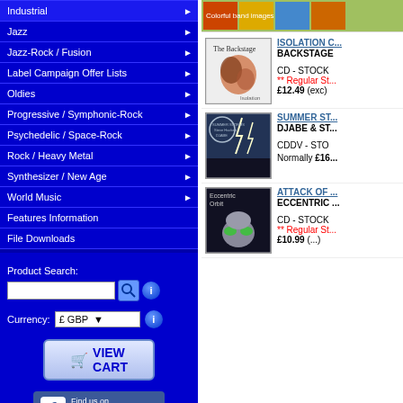Industrial
Jazz
Jazz-Rock / Fusion
Label Campaign Offer Lists
Oldies
Progressive / Symphonic-Rock
Psychedelic / Space-Rock
Rock / Heavy Metal
Synthesizer / New Age
World Music
Features Information
File Downloads
Product Search:
Currency: £ GBP
VIEW CART
Find us on Facebook
[Figure (screenshot): Album cover for The Backstage - Isolation (CD)]
ISOLATION C... BACKSTAGE CD - STOCK ** Regular St... £12.49 (exc)
[Figure (screenshot): Album cover for Djabe & Steve Hackett - Summer Storms]
SUMMER ST... DJABE & ST... CDDV - STO Normally £16...
[Figure (screenshot): Album cover Eccentric Orbit - Attack of...]
ATTACK OF ... ECCENTRIC ... CD - STOCK ** Regular St... £10.99 (...)